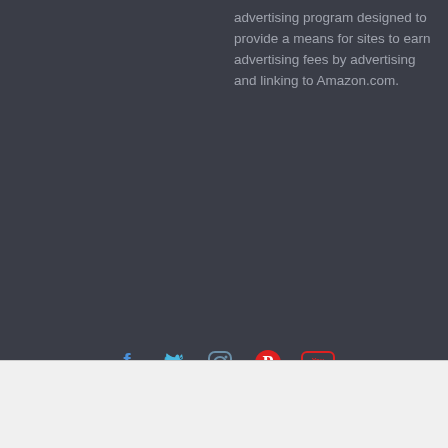advertising program designed to provide a means for sites to earn advertising fees by advertising and linking to Amazon.com.
Copyright © 2022 Food Storage Moms. All rights reserved. Theme: ColorMag by ThemeGrill. Powered by WordPress.
AN ELITE CAFEMEDIA LIFESTYLE PUBLISHER
Ashburn OPEN 8AM–10PM 20321 Susan Leslie Dr, Ashburn